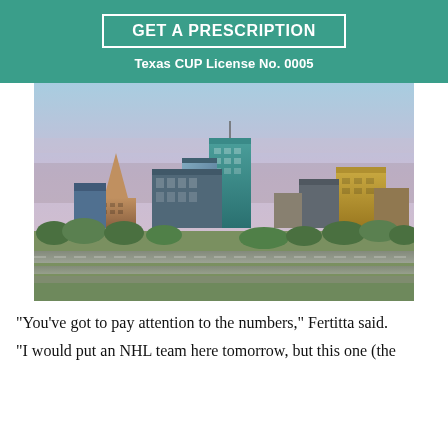GET A PRESCRIPTION
Texas CUP License No. 0005
[Figure (photo): Aerial cityscape photo of Houston, Texas skyline showing skyscrapers, highways, and green trees in the foreground]
“You’ve got to pay attention to the numbers,” Fertitta said. “I would put an NHL team here tomorrow, but this one (the